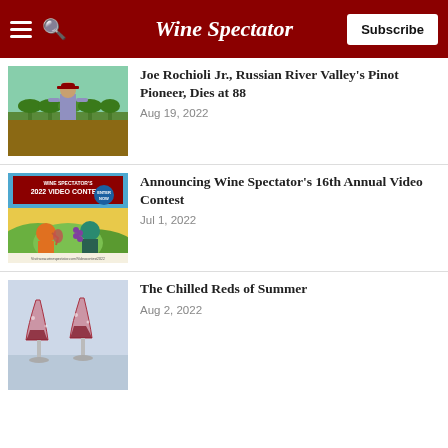Wine Spectator
Joe Rochioli Jr., Russian River Valley's Pinot Pioneer, Dies at 88
Aug 19, 2022
Announcing Wine Spectator's 16th Annual Video Contest
Jul 1, 2022
The Chilled Reds of Summer
Aug 2, 2022